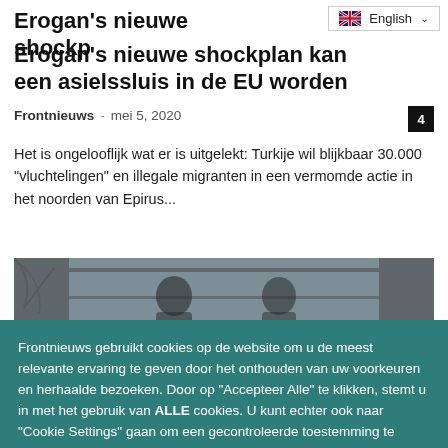Erogan's nieuwe shockplan kan een asielssluis in de EU worden
Frontnieuws - mei 5, 2020
Het is ongelooflijk wat er is uitgelekt: Turkije wil blijkbaar 30.000 "vluchtelingen" en illegale migranten in een vermomde actie in het noorden van Epirus...
[Figure (photo): Interior photo of what appears to be a church or religious building with stained glass windows and silhouettes of figures]
Frontnieuws gebruikt cookies op de website om u de meest relevante ervaring te geven door het onthouden van uw voorkeuren en herhaalde bezoeken. Door op "Accepteer Alle" te klikken, stemt u in met het gebruik van ALLE cookies. U kunt echter ook naar "Cookie Settings" gaan om een gecontroleerde toestemming te geven.